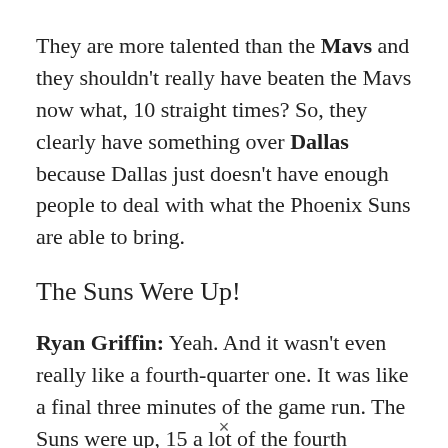They are more talented than the Mavs and they shouldn't really have beaten the Mavs now what, 10 straight times? So, they clearly have something over Dallas because Dallas just doesn't have enough people to deal with what the Phoenix Suns are able to bring.
The Suns Were Up!
Ryan Griffin: Yeah. And it wasn't even really like a fourth-quarter one. It was like a final three minutes of the game run. The Suns were up, 15 a lot of the fourth quarter, you know, 15,